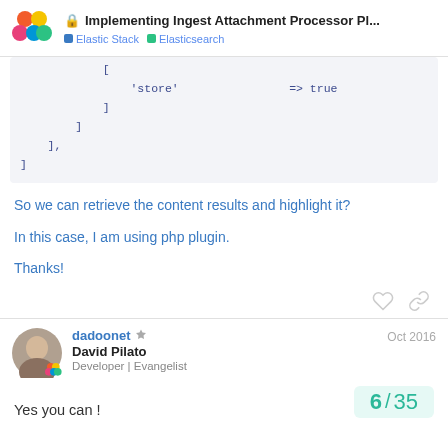Implementing Ingest Attachment Processor Pl... | Elastic Stack | Elasticsearch
'store'                => true
                ]
            ]
        ],
    ]
So we can retrieve the content results and highlight it?
In this case, I am using php plugin.
Thanks!
dadoonet  David Pilato  Developer | Evangelist  Oct 2016
Yes you can !
6 / 35